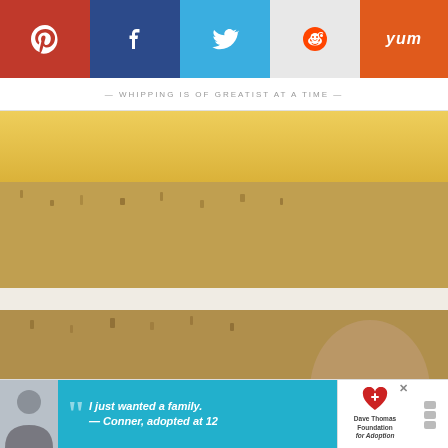[Figure (other): Social sharing bar with Pinterest (red), Facebook (dark blue), Twitter (light blue), Reddit (light gray), Yummly (orange) buttons]
WHIPPING IS OF GREATIST AT A TIME
[Figure (photo): Close-up photo of a sliced layered carrot cake with cream cheese frosting between layers, showing 4 layers of spiced cake and white frosting, yellow frosting on top. Watermark reads 'Tornadough Alli']
83.5K
WHAT'S NEXT → Cream Cheese Carrot Cake...
[Figure (photo): Advertisement banner: boy photo with Dave Thomas Foundation for Adoption ad reading 'I just wanted a family. — Conner, adopted at 12']